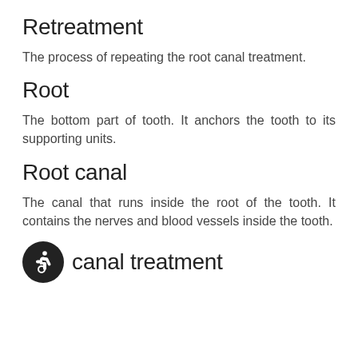Retreatment
The process of repeating the root canal treatment.
Root
The bottom part of tooth. It anchors the tooth to its supporting units.
Root canal
The canal that runs inside the root of the tooth. It contains the nerves and blood vessels inside the tooth.
Root canal treatment